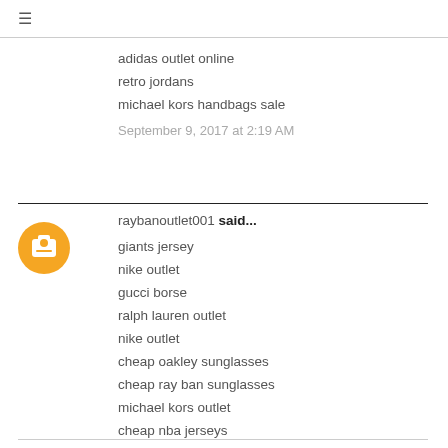≡
adidas outlet online
retro jordans
michael kors handbags sale
September 9, 2017 at 2:19 AM
raybanoutlet001 said...
giants jersey
nike outlet
gucci borse
ralph lauren outlet
nike outlet
cheap oakley sunglasses
cheap ray ban sunglasses
michael kors outlet
cheap nba jerseys
coach outlet
September 20, 2017 at 8:40 PM